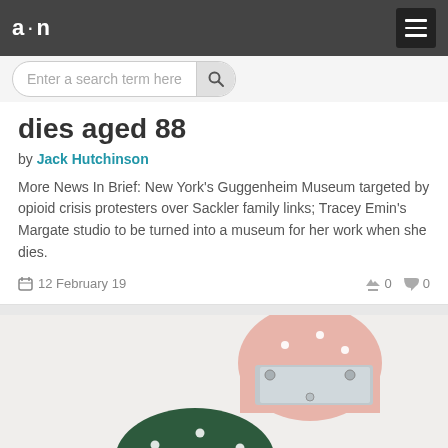a·n
dies aged 88
by Jack Hutchinson
More News In Brief: New York's Guggenheim Museum targeted by opioid crisis protesters over Sackler family links; Tracey Emin's Margate studio to be turned into a museum for her work when she dies.
12 February 19  0  0
[Figure (photo): Two small dome-shaped brooch/object forms - one pink with metal hardware on top, one dark green, both with small white dots. Partial view of a third brownish object at bottom.]